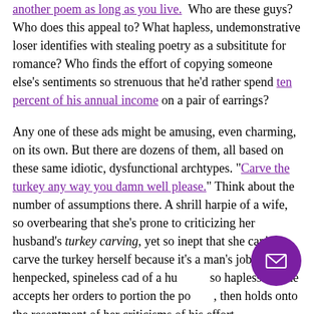another poem as long as you live. Who are these guys? Who does this appeal to? What hapless, undemonstrative loser identifies with stealing poetry as a subsititute for romance? Who finds the effort of copying someone else's sentiments so strenuous that he'd rather spend ten percent of his annual income on a pair of earrings?
Any one of these ads might be amusing, even charming, on its own. But there are dozens of them, all based on these same idiotic, dysfunctional archtypes. "Carve the turkey any way you damn well please." Think about the number of assumptions there. A shrill harpie of a wife, so overbearing that she's prone to criticizing her husband's turkey carving, yet so inept that she can't carve the turkey herself because it's a man's job. A henpecked, spineless cad of a husband so hapless that he accepts her orders to portion the poultry, then holds onto the resentment of her criticisms of his effort. And relationships do tend to twist that hiring and some of